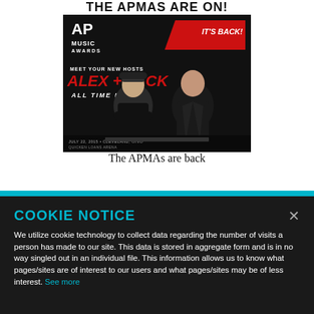THE APMAS ARE ON!
[Figure (photo): Promotional poster for AP Music Awards featuring two hosts Alex and Jack from All Time Low, with text 'IT'S BACK!', 'MEET YOUR NEW HOSTS ALEX + JACK ALL TIME LOW', date July 22, 2015, Cleveland, Ohio, Quicken Loans Arena, with sponsor logos at bottom.]
The APMAs are back
COOKIE NOTICE
We utilize cookie technology to collect data regarding the number of visits a person has made to our site. This data is stored in aggregate form and is in no way singled out in an individual file. This information allows us to know what pages/sites are of interest to our users and what pages/sites may be of less interest. See more